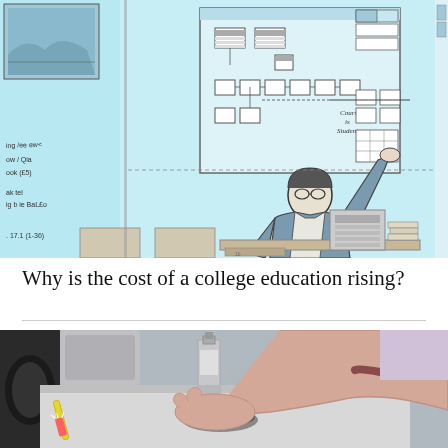[Figure (illustration): A sketch/line-art illustration of a professor or teacher standing at the front of a classroom, pointing at a whiteboard or screen that shows a diagram with boxes and arrows. Books and equipment are on a desk nearby. The image has a cyan/light blue tint with dark outlines.]
Why is the cost of a college education rising?
[Figure (photo): A photograph showing a person's arm/hand pressing down on what appears to be a round scale or button on a surface. A yellow toothbrush is visible in the lower left corner. The scene appears to be in a bathroom.]